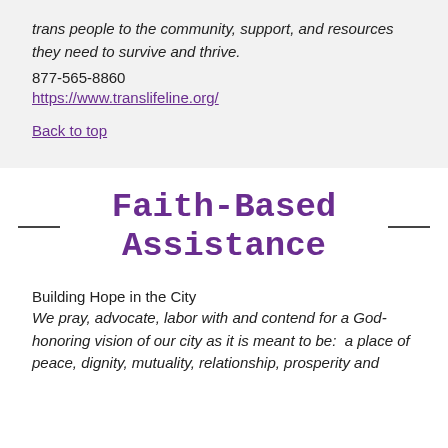trans people to the community, support, and resources they need to survive and thrive.
877-565-8860
https://www.translifeline.org/
Back to top
Faith-Based Assistance
Building Hope in the City
We pray, advocate, labor with and contend for a God-honoring vision of our city as it is meant to be:  a place of peace, dignity, mutuality, relationship, prosperity and